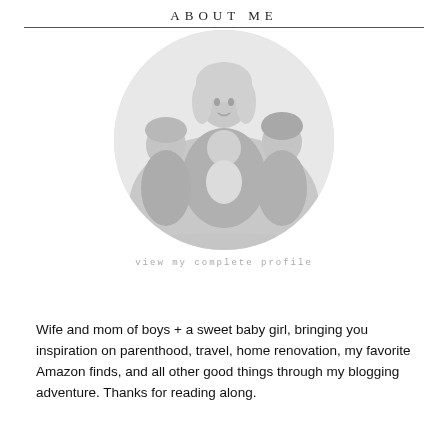ABOUT ME
[Figure (photo): Black and white circular portrait photo of a woman (mother) seated with three children — two boys and a baby girl — in a studio setting.]
view my complete profile
Wife and mom of boys + a sweet baby girl, bringing you inspiration on parenthood, travel, home renovation, my favorite Amazon finds, and all other good things through my blogging adventure. Thanks for reading along.